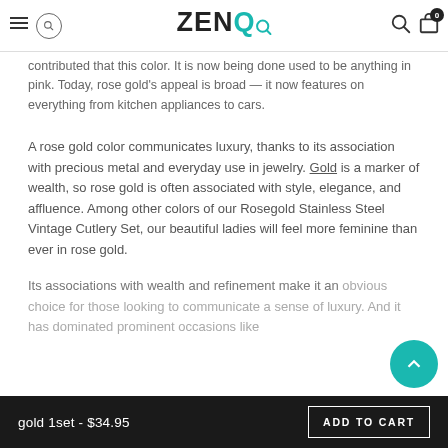ZENQ (navigation bar with logo, hamburger, search, cart)
contributed that this color. It is now being used to do anything in pink. Today, rose gold's appeal is broad — it now features on everything from kitchen appliances to cars.
A rose gold color communicates luxury, thanks to its association with precious metal and everyday use in jewelry. Gold is a marker of wealth, so rose gold is often associated with style, elegance, and affluence. Among other colors of our Rosegold Stainless Steel Vintage Cutlery Set, our beautiful ladies will feel more feminine than ever in rose gold.
Its associations with wealth and refinement make it an obvious choice for those looking to communicate a sense of luxury. And it has dominated prominent occasions like
gold 1set - $34.95   ADD TO CART